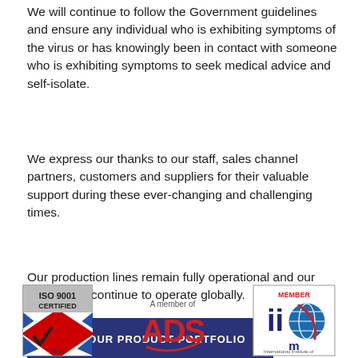We will continue to follow the Government guidelines and ensure any individual who is exhibiting symptoms of the virus or has knowingly been in contact with someone who is exhibiting symptoms to seek medical advice and self-isolate.
We express our thanks to our staff, sales channel partners, customers and suppliers for their valuable support during these ever-changing and challenging times.
Our production lines remain fully operational and our distributors continue to operate globally.
VIEW OUR PRODUCT PORTFOLIO
[Figure (logo): ISO 9001 Certified UKAS badge with Union Jack chevron design]
[Figure (logo): A member of ADS logo in red and grey]
[Figure (logo): IIOM International Institute of Member badge with globe icon]